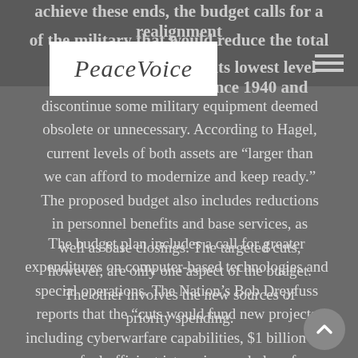achieve these ends, the budget calls for a realignment of the military that would reduce the total number of ground troops to its lowest level since 1940 and
[Figure (logo): PeaceVoice logo in cursive script on white background]
discontinue some military equipment deemed obsolete or unnecessary. According to Hagel, current levels of both assets are “larger than we can afford to modernize and keep ready.” The proposed budget also includes reductions in personnel benefits and base services, as well as base closings. The targeted cuts, however, are only one aspect of the budget. The other involves the new sources of priority spending.
The budget plan includes a call for greater expenditures on computer-based technologies and special operations. The Nation’s Bob Dreyfuss reports that the “cuts would fund new projects including cyberwarfare capabilities, $1 billion for a more fuel-efficient jet engine, and plans for a new Navy surface ship.” Despite the cuts to traditional aspects of the military, the DoD